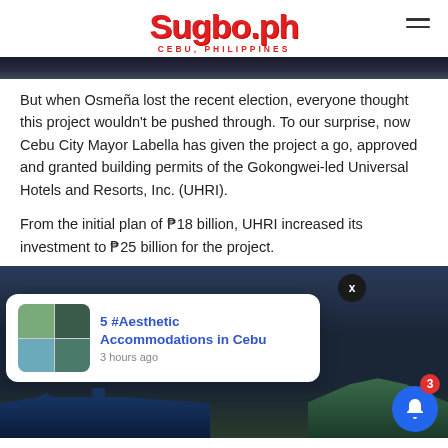Sugbo.ph — CEBU, PHILIPPINES
But when Osmeña lost the recent election, everyone thought this project wouldn't be pushed through. To our surprise, now Cebu City Mayor Labella has given the project a go, approved and granted building permits of the Gokongwei-led Universal Hotels and Resorts, Inc. (UHRI).
From the initial plan of ₱18 billion, UHRI increased its investment to ₱25 billion for the project.
[Figure (screenshot): Website notification popup showing '5 #Aesthetic Accommodations in Cebu — 3 hours ago' with thumbnail images, overlaid on a dark cityscape/night sky photo. A blue bell notification button with badge '3' is visible in the bottom right.]